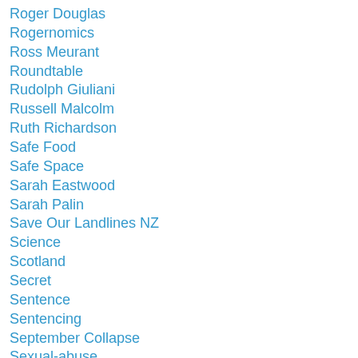Roger Douglas
Rogernomics
Ross Meurant
Roundtable
Rudolph Giuliani
Russell Malcolm
Ruth Richardson
Safe Food
Safe Space
Sarah Eastwood
Sarah Palin
Save Our Landlines NZ
Science
Scotland
Secret
Sentence
Sentencing
September Collapse
Sexual-abuse
Sheriff-richard-mack
Shooting